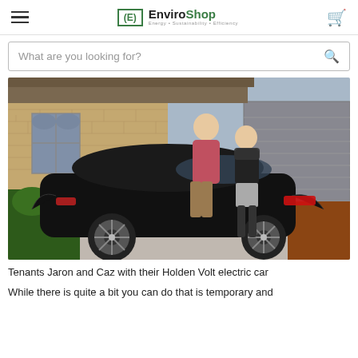EnviroShop — Energy • Sustainability • Efficiency
[Figure (photo): Two people (Jaron and Caz) standing beside a black Holden Volt electric car in a driveway in front of a brick house with a garage roller door]
Tenants Jaron and Caz with their Holden Volt electric car
While there is quite a bit you can do that is temporary and